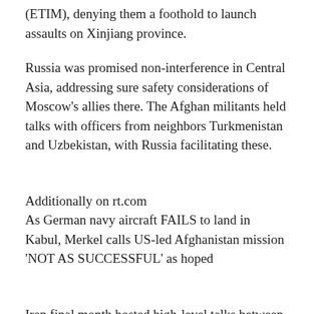(ETIM), denying them a foothold to launch assaults on Xinjiang province.
Russia was promised non-interference in Central Asia, addressing sure safety considerations of Moscow's allies there. The Afghan militants held talks with officers from neighbors Turkmenistan and Uzbekistan, with Russia facilitating these.
Additionally on rt.com
As German navy aircraft FAILS to land in Kabul, Merkel calls US-led Afghanistan mission 'NOT AS SUCCESSFUL' as hoped
Iran final month hosted high-level talks between the militants and the Afghan authorities. India had reportedly established a backchannel to the Taliban. Turkey made no secret of its